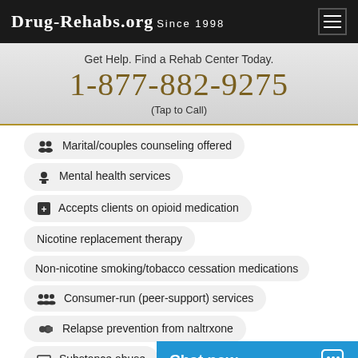Drug-Rehabs.org Since 1998
Get Help. Find a Rehab Center Today.
1-877-882-9275
(Tap to Call)
Marital/couples counseling offered
Mental health services
Accepts clients on opioid medication
Nicotine replacement therapy
Non-nicotine smoking/tobacco cessation medications
Consumer-run (peer-support) services
Relapse prevention from naltrxone
Substance abuse
Chat now